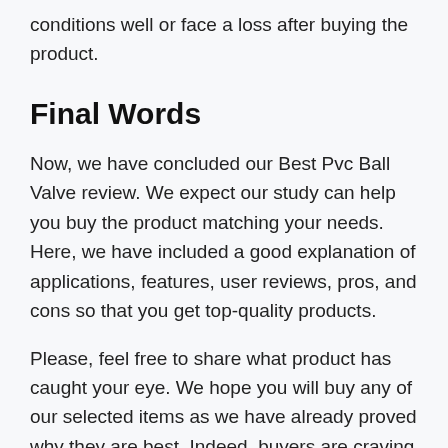conditions well or face a loss after buying the product.
Final Words
Now, we have concluded our Best Pvc Ball Valve review. We expect our study can help you buy the product matching your needs. Here, we have included a good explanation of applications, features, user reviews, pros, and cons so that you get top-quality products.
Please, feel free to share what product has caught your eye. We hope you will buy any of our selected items as we have already proved why they are best. Indeed, buyers are craving to buy them